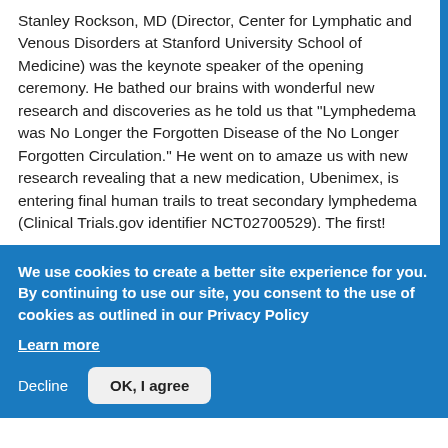Stanley Rockson, MD (Director, Center for Lymphatic and Venous Disorders at Stanford University School of Medicine) was the keynote speaker of the opening ceremony. He bathed our brains with wonderful new research and discoveries as he told us that "Lymphedema was No Longer the Forgotten Disease of the No Longer Forgotten Circulation." He went on to amaze us with new research revealing that a new medication, Ubenimex, is entering final human trails to treat secondary lymphedema (Clinical Trials.gov identifier NCT02700529). The first!
We use cookies to create a better site experience for you. By continuing to use our site, you consent to the use of cookies as outlined in our Privacy Policy
Learn more
Decline
OK, I agree